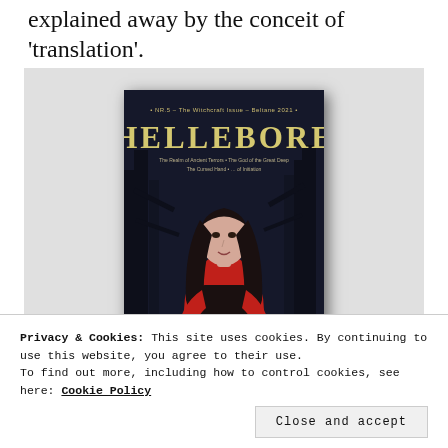explained away by the conceit of 'translation'.
[Figure (photo): Magazine cover of Hellebore issue #5, The Witchcraft Issue, Beltane 2021. Shows a woman with long dark hair wearing red against a dark forest background. Title 'HELLEBORE' in large yellow/gold letters.]
Privacy & Cookies: This site uses cookies. By continuing to use this website, you agree to their use.
To find out more, including how to control cookies, see here: Cookie Policy
Close and accept